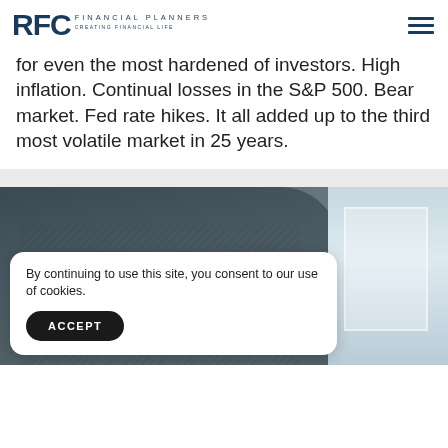RFC FINANCIAL PLANNERS
for even the most hardened of investors. High inflation. Continual losses in the S&P 500. Bear market. Fed rate hikes. It all added up to the third most volatile market in 25 years.
[Figure (photo): Person in a grey checkered shirt photographed from mid-torso up, with a window visible in the background. A cookie consent dialog overlays the bottom portion of the image.]
By continuing to use this site, you consent to our use of cookies.